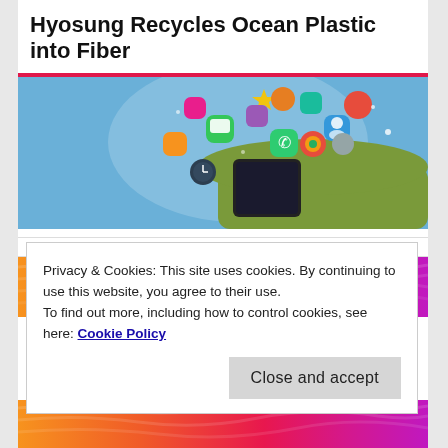Hyosung Recycles Ocean Plastic into Fiber
[Figure (photo): Person holding a smartphone with colorful app icons floating above it on a blue background.]
[Figure (photo): Partial view of a colorful orange-to-pink gradient banner with a dark circular element visible.]
Privacy & Cookies: This site uses cookies. By continuing to use this website, you agree to their use.
To find out more, including how to control cookies, see here: Cookie Policy
Close and accept